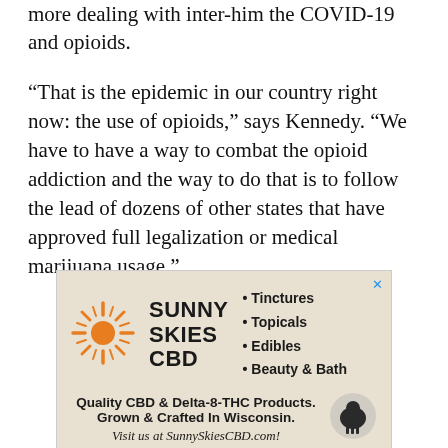more dealing with inter-him the COVID-19 and opioids.
“That is the epidemic in our country right now: the use of opioids,” says Kennedy. “We have to have a way to combat the opioid addiction and the way to do that is to follow the lead of dozens of other states that have approved full legalization or medical marijuana usage.”
[Figure (infographic): Sunny Skies CBD advertisement with orange sunburst logo, brand name, bullet list of products (Tinctures, Topicals, Edibles, Beauty & Bath), quality statement about CBD & Delta-8-THC products grown and crafted in Wisconsin, website URL, and sheep icon.]